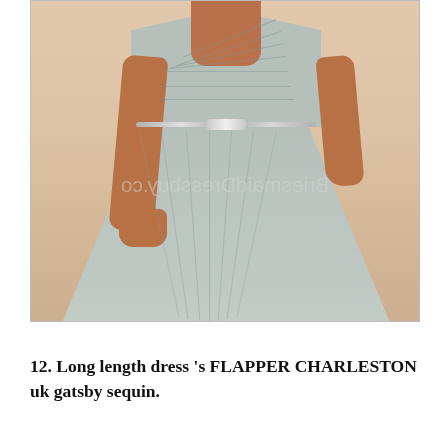[Figure (photo): A woman wearing a long grey pleated dress with a silver belt at the waist. The dress has a criss-cross ruched bodice and flowing pleated skirt. A watermark reads 'BriesmaidDressbuy.co' (mirrored) across the image.]
12. Long length dress 's FLAPPER CHARLESTON uk gatsby sequin.